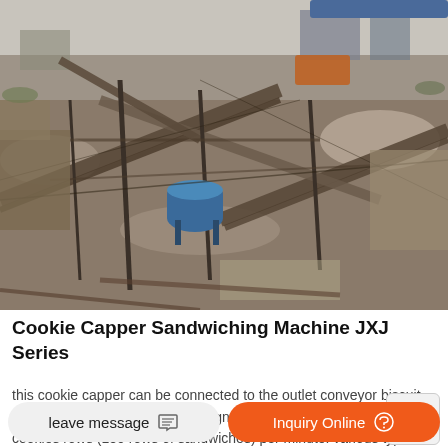[Figure (photo): Aerial/overhead view of an industrial quarry or mining/crushing plant facility with conveyor belts, machinery, gravel piles, and metal structures.]
Cookie Capper Sandwiching Machine JXJ Series
this cookie capper can be connected to the outlet conveyor biscuit plant, and it can automatically align, deposit and cap speeds of 300 cookies rows (150 rows of sandwiches) per minute. various types of soft and hard biscuits, cakes can be